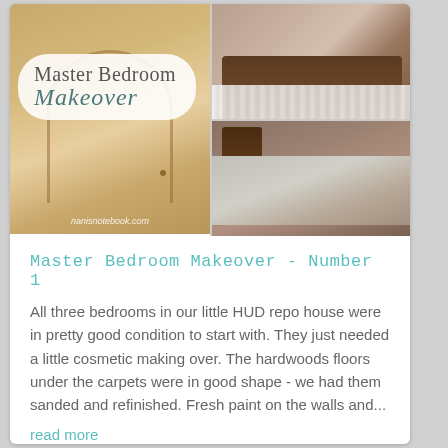[Figure (photo): Collage of master bedroom makeover photos: left shows hardwood floor with arched doorway, top-right shows old bedroom with ruffled bed, bottom-right shows renovated bedroom with made bed and dark wood headboard. Title overlay reads 'Master Bedroom Makeover' with watermark 'nanisnotebook.com'.]
Master Bedroom Makeover - Number 1
All three bedrooms in our little HUD repo house were in pretty good condition to start with. They just needed a little cosmetic making over. The hardwoods floors under the carpets were in good shape - we had them sanded and refinished. Fresh paint on the walls and...
read more